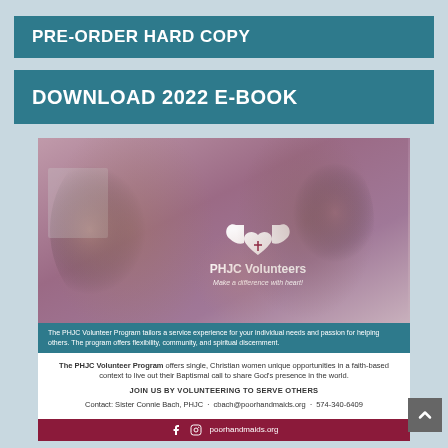PRE-ORDER HARD COPY
DOWNLOAD 2022 E-BOOK
[Figure (photo): PHJC Volunteers promotional image showing a volunteer woman with glasses helping a young child, with a white logo of cupped hands holding a heart and the text 'PHJC Volunteers - Make a difference with heart!']
The PHJC Volunteer Program tailors a service experience for your individual needs and passion for helping others. The program offers flexibility, community, and spiritual discernment.
The PHJC Volunteer Program offers single, Christian women unique opportunities in a faith-based context to live out their Baptismal call to share God's presence in the world.
JOIN US BY VOLUNTEERING TO SERVE OTHERS
Contact: Sister Connie Bach, PHJC · cbach@poorhandmaids.org · 574-340-6409
poorhandmaids.org